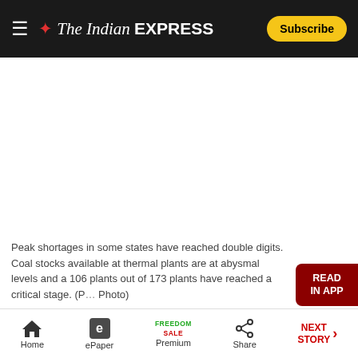The Indian EXPRESS — Subscribe
[Figure (photo): Advertisement or image area (blank/white space)]
Peak shortages in some states have reached double digits. Coal stocks available at thermal plants are at abysmal levels and a 106 plants out of 173 plants have reached a critical stage. (P… Photo)
The power sector in India is going through a crisis.
Home | ePaper | Premium (FREEDOM SALE) | Share | NEXT STORY